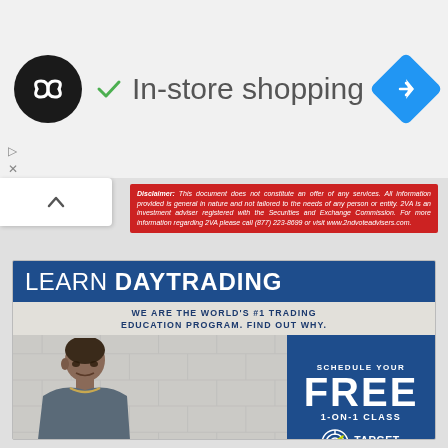[Figure (screenshot): Top navigation bar with circular dark logo with infinity/arrows symbol, checkmark and 'In-store shopping' text, and blue diamond navigation icon on right]
Disclaimer: This document does not constitute an offer of any services. All information provided is general in nature and not tailored to the needs of any person or entity. 2VA is an investment adviser registered with the Securities and Exchange Commission. For more information regarding 2VA please call (877) 223-8699 or visit www.2ndvoteadvisers.com.
[Figure (illustration): Target Trading Academy advertisement featuring 'LEARN DAYTRADING' in blue banner, subtitle 'WE ARE THE WORLD'S #1 TRADING EDUCATION PROGRAM. FIND OUT WHY.', photo of Instructor Pat Assalone against brick wall background, and blue CTA box reading 'SCHEDULE YOUR FREE 1-ON-1 CLASS' with Target Trading Academy logo]